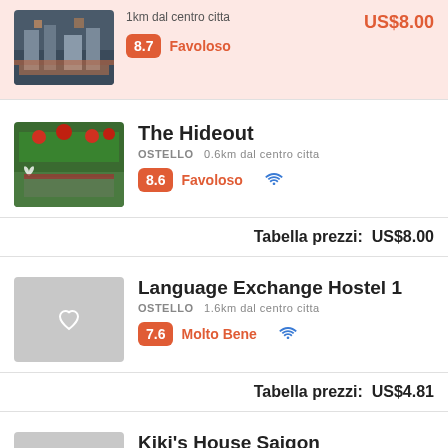1km dal centro citta
8.7 Favoloso
US$8.00
The Hideout
OSTELLO  0.6km dal centro citta
8.6 Favoloso
Tabella prezzi:  US$8.00
Language Exchange Hostel 1
OSTELLO  1.6km dal centro citta
7.6 Molto Bene
Tabella prezzi:  US$4.81
Kiki's House Saigon
OSTELLO  1.1km dal centro citta